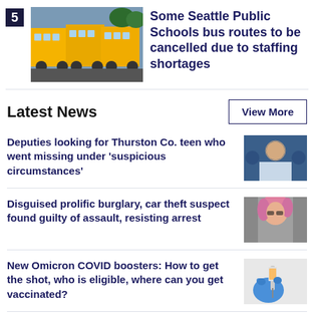[Figure (photo): Yellow school buses parked in a row]
Some Seattle Public Schools bus routes to be cancelled due to staffing shortages
Latest News
View More
Deputies looking for Thurston Co. teen who went missing under 'suspicious circumstances'
[Figure (photo): Young man portrait photo]
Disguised prolific burglary, car theft suspect found guilty of assault, resisting arrest
[Figure (photo): Person with pink hair]
New Omicron COVID boosters: How to get the shot, who is eligible, where can you get vaccinated?
[Figure (photo): Gloved hand holding vaccine syringe]
Nobody has to choose between ...Washington...